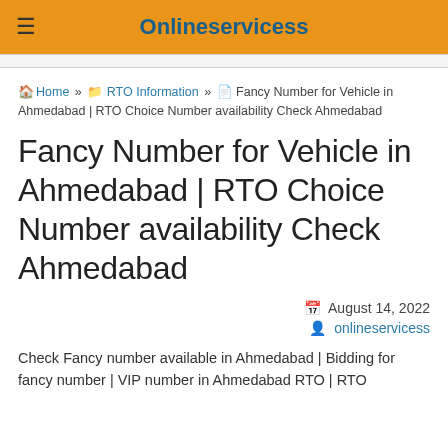Onlineservicess
Home » RTO Information » Fancy Number for Vehicle in Ahmedabad | RTO Choice Number availability Check Ahmedabad
Fancy Number for Vehicle in Ahmedabad | RTO Choice Number availability Check Ahmedabad
August 14, 2022
onlineservicess
Check Fancy number available in Ahmedabad | Bidding for fancy number | VIP number in Ahmedabad RTO | RTO